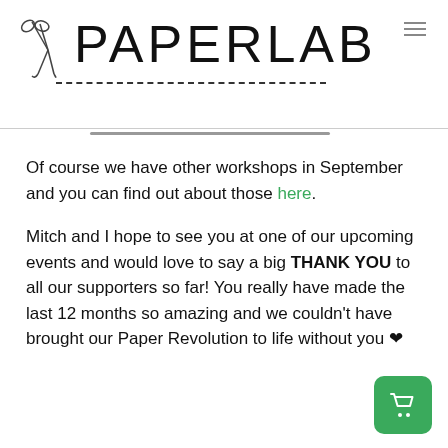[Figure (logo): PaperLab logo with scissors icon and dashed underline]
Of course we have other workshops in September and you can find out about those here.
Mitch and I hope to see you at one of our upcoming events and would love to say a big THANK YOU to all our supporters so far! You really have made the last 12 months so amazing and we couldn't have brought our Paper Revolution to life without you 🖤
[Figure (illustration): Shopping cart button icon, green rounded square]